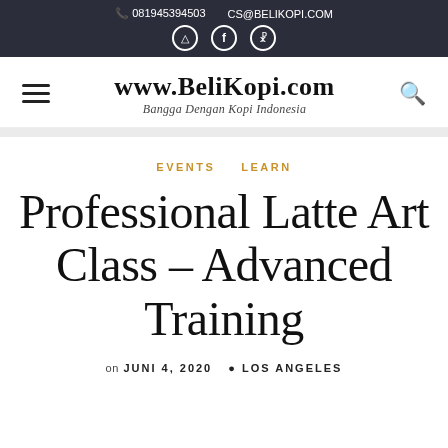081945394503  CS@BELIKOPI.COM
www.BeliKopi.com — Bangga Dengan Kopi Indonesia
EVENTS   LEARN
Professional Latte Art Class – Advanced Training
on JUNI 4, 2020   LOS ANGELES